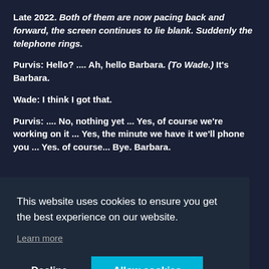Late 2022. Both of them are now pacing back and forward, the screen continues to lie blank. Suddenly the telephone rings.
Purvis: Hello? .... Ah, hello Barbara. (To Wade.) It's Barbara.
Wade: I think I got that.
Purvis: .... No, nothing yet ... Yes, of course we're working on it ... Yes, the minute we have it we'll phone you ... Yes. of course... Bye. Barbara.
This website uses cookies to ensure you get the best experience on our website.
Learn more
Decline
Allow cookies
MI6 Agent